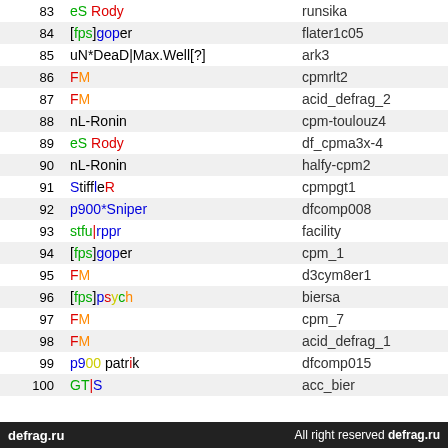| # | Player | Map |
| --- | --- | --- |
| 83 | eS Rody | runsika |
| 84 | [fps]goper | flater1c05 |
| 85 | uN*DeaD|Max.Well[?] | ark3 |
| 86 | FM | cpmrlt2 |
| 87 | FM | acid_defrag_2 |
| 88 | nL-Ronin | cpm-toulouz4 |
| 89 | eS Rody | df_cpma3x-4 |
| 90 | nL-Ronin | halfy-cpm2 |
| 91 | StiffleR | cpmpgt1 |
| 92 | p900*Sniper | dfcomp008 |
| 93 | stfu|rppr | facility |
| 94 | [fps]goper | cpm_1 |
| 95 | FM | d3cym8er1 |
| 96 | [fps]psych | biersa |
| 97 | FM | cpm_7 |
| 98 | FM | acid_defrag_1 |
| 99 | p900 patrik | dfcomp015 |
| 100 | GT|S | acc_bier |
defrag.ru   All right reserved defrag.ru